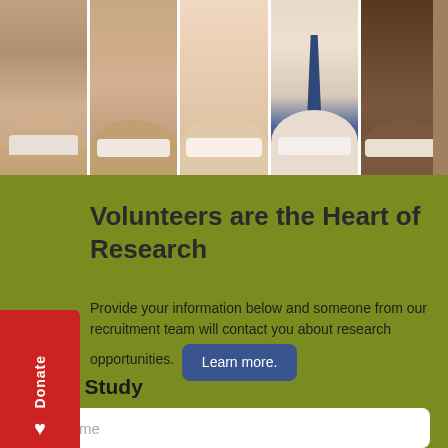[Figure (photo): A horizontal strip of five people's faces cropped to show smiling mouths and lower faces, diverse group of individuals]
Volunteers are the Heart of Research
Provide your information below and someone from our recruitment team will contact you about research opportunities.
Join a Study
Full name
Email